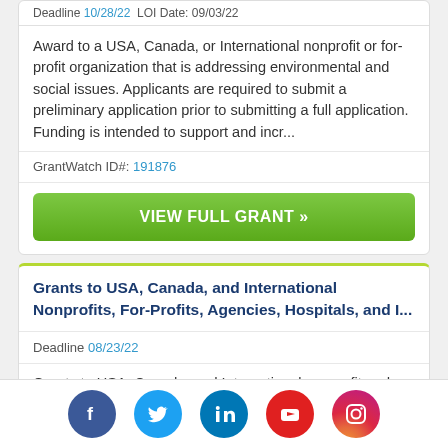Deadline 10/28/22  LOI Date: 09/03/22
Award to a USA, Canada, or International nonprofit or for-profit organization that is addressing environmental and social issues. Applicants are required to submit a preliminary application prior to submitting a full application. Funding is intended to support and incr...
GrantWatch ID#: 191876
VIEW FULL GRANT »
Grants to USA, Canada, and International Nonprofits, For-Profits, Agencies, Hospitals, and I...
Deadline 08/23/22
Grants to USA, Canada, and International nonprofit and for-profit organizations, government agencies, hospitals...
Social media icons: Facebook, Twitter, LinkedIn, YouTube, Instagram